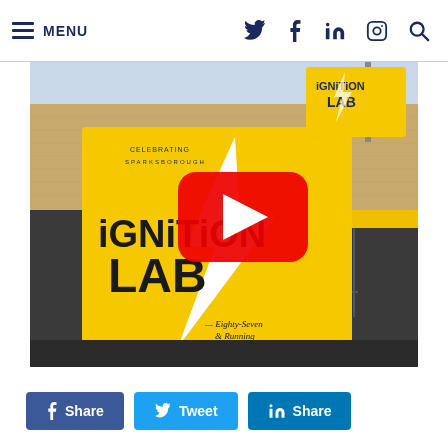MENU
[Figure (screenshot): Exterior photo of Ignition Lab building with large yellow sign featuring a lightning bolt and the text 'IGNITION LAB', with a YouTube play button overlay in the center]
Share  Tweet  Share